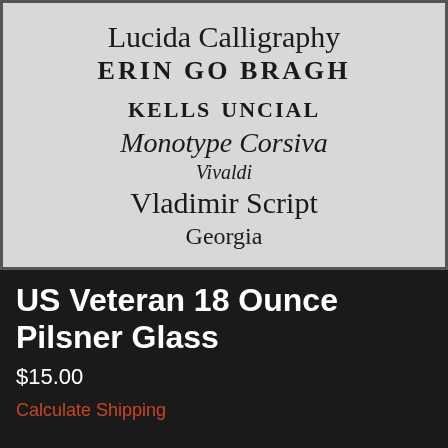[Figure (illustration): A light gray card or page showing various font names displayed in their respective typefaces: Lucida Calligraphy (italic calligraphic script), ERIN GO BRAGH (bold spaced caps), kells uncial (bold uncial/medieval), Monotype Corsiva (italic), Vivaldi (small italic script), Vladimir Script (large cursive script), Georgia (serif roman).]
US Veteran 18 Ounce Pilsner Glass
$15.00
Calculate Shipping